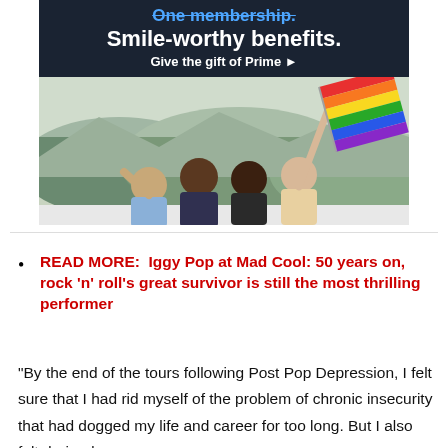[Figure (photo): Amazon Prime advertisement banner with dark navy background showing 'One membership. Smile-worthy benefits. Give the gift of Prime ▶' text, and a photo of a group of people in a car holding a rainbow pride flag against an outdoor sky/hill backdrop.]
READ MORE:  Iggy Pop at Mad Cool: 50 years on, rock 'n' roll's great survivor is still the most thrilling performer
“By the end of the tours following Post Pop Depression, I felt sure that I had rid myself of the problem of chronic insecurity that had dogged my life and career for too long. But I also felt drained.